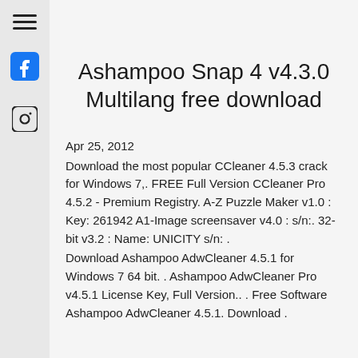[Figure (other): Shopping bag / cart icon with badge showing 0]
[Figure (other): Hamburger menu icon (three horizontal lines)]
[Figure (other): Facebook icon (blue square with white F)]
[Figure (other): Instagram icon (camera outline circle)]
Ashampoo Snap 4 v4.3.0 Multilang free download
Apr 25, 2012
Download the most popular CCleaner 4.5.3 crack for Windows 7,. FREE Full Version CCleaner Pro 4.5.2 - Premium Registry. A-Z Puzzle Maker v1.0 : Key: 261942 A1-Image screensaver v4.0 : s/n:. 32-bit v3.2 : Name: UNICITY s/n: .
Download Ashampoo AdwCleaner 4.5.1 for Windows 7 64 bit. . Ashampoo AdwCleaner Pro v4.5.1 License Key, Full Version.. . Free Software Ashampoo AdwCleaner 4.5.1. Download .